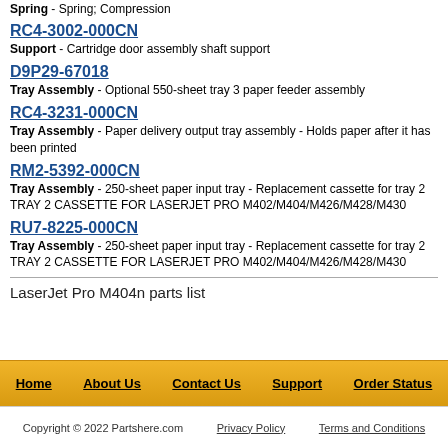Spring - Spring; Compression
RC4-3002-000CN
Support - Cartridge door assembly shaft support
D9P29-67018
Tray Assembly - Optional 550-sheet tray 3 paper feeder assembly
RC4-3231-000CN
Tray Assembly - Paper delivery output tray assembly - Holds paper after it has been printed
RM2-5392-000CN
Tray Assembly - 250-sheet paper input tray - Replacement cassette for tray 2 TRAY 2 CASSETTE FOR LASERJET PRO M402/M404/M426/M428/M430
RU7-8225-000CN
Tray Assembly - 250-sheet paper input tray - Replacement cassette for tray 2 TRAY 2 CASSETTE FOR LASERJET PRO M402/M404/M426/M428/M430
LaserJet Pro M404n parts list
Home | About Us | Contact Us | Support | Order Status
Copyright © 2022 Partshere.com | Privacy Policy | Terms and Conditions